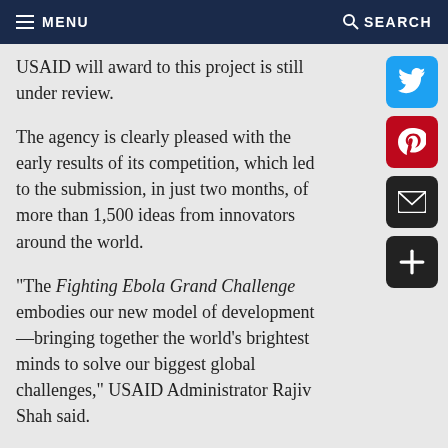MENU   SEARCH
USAID will award to this project is still under review.
The agency is clearly pleased with the early results of its competition, which led to the submission, in just two months, of more than 1,500 ideas from innovators around the world.
"The Fighting Ebola Grand Challenge embodies our new model of development—bringing together the world’s brightest minds to solve our biggest global challenges," USAID Administrator Rajiv Shah said.
Johns Hopkins’ improved health care protective suit grew out of a weekend-long design brainstorming event hosted in October by CBID on the university’s Homewood campus in Baltimore. The 65 participants represented a wide range of Johns Hopkins